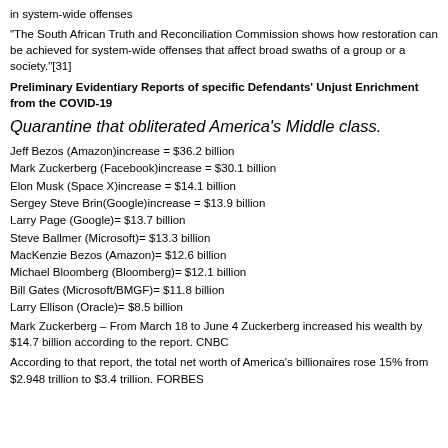in system-wide offenses
“The South African Truth and Reconciliation Commission shows how restoration can be achieved for system-wide offenses that affect broad swaths of a group or a society.”[31]
Preliminary Evidentiary Reports of specific Defendants’ Unjust Enrichment from the COVID-19 Quarantine that obliterated America’s Middle class.
Quarantine that obliterated America’s Middle class.
Jeff Bezos (Amazon)increase = $36.2 billion
Mark Zuckerberg (Facebook)increase = $30.1 billion
Elon Musk (Space X)increase = $14.1 billion
Sergey Steve Brin(Google)increase = $13.9 billion
Larry Page (Google)= $13.7 billion
Steve Ballmer (Microsoft)= $13.3 billion
MacKenzie Bezos (Amazon)= $12.6 billion
Michael Bloomberg (Bloomberg)= $12.1 billion
Bill Gates (Microsoft/BMGF)= $11.8 billion
Larry Ellison (Oracle)= $8.5 billion
Mark Zuckerberg – From March 18 to June 4 Zuckerberg increased his wealth by $14.7 billion according to the report. CNBC
According to that report, the total net worth of America’s billionaires rose 15% from $2.948 trillion to $3.4 trillion. FORBES